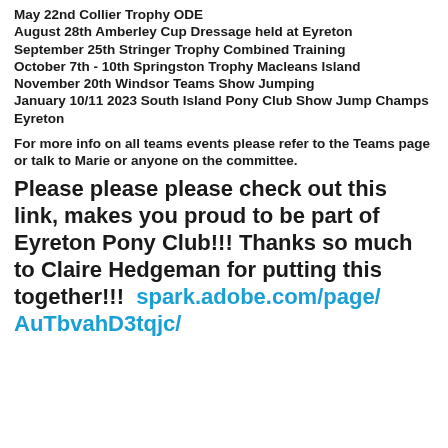March 27th North Canterbury Teams Champs
May 22nd Collier Trophy ODE
August 28th Amberley Cup Dressage held at Eyreton
September 25th Stringer Trophy Combined Training
October 7th - 10th Springston Trophy Macleans Island
November 20th Windsor Teams Show Jumping
January 10/11 2023 South Island Pony Club Show Jump Champs Eyreton
For more info on all teams events please refer to the Teams page or talk to Marie or anyone on the committee.
Please please please check out this link, makes you proud to be part of Eyreton Pony Club!!! Thanks so much to Claire Hedgeman for putting this together!!!  spark.adobe.com/page/AuTbvahD3tqjc/